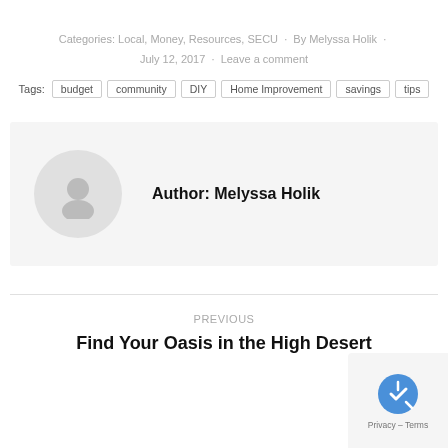Categories: Local, Money, Resources, SECU · By Melyssa Holik · July 12, 2017 · Leave a comment
Tags: budget community DIY Home Improvement savings tips
Author: Melyssa Holik
PREVIOUS
Find Your Oasis in the High Desert